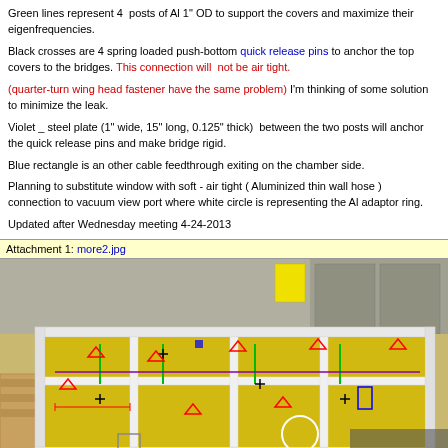Green lines represent 4 posts of Al 1" OD to support the covers and maximize their eigenfrequencies.
Black crosses are 4 spring loaded push-bottom quick release pins to anchor the top covers to the bridges. This connection will not be air tight.
(quarter-turn wing head fastener have the same problem) I'm thinking of some solution to minimize the leak.
Violet _ steel plate (1" wide, 15" long, 0.125" thick) between the two posts will anchor the quick release pins and make bridge rigid.
Blue rectangle is an other cable feedthrough exiting on the chamber side.
Planning to substitute window with soft - air tight ( Aluminized thin wall hose ) connection to vacuum view port where white circle is representing the Al adaptor ring.
Updated after Wednesday meeting 4-24-2013
Attachment 1: more2.jpg
[Figure (photo): Laboratory photo of a large rectangular vacuum chamber frame with yellow interior panels, white PVC or aluminum frame edges, overlaid with red triangle markers, green vertical lines, black cross markers, a blue rectangle, a white circle, and a violet line. Workshop background with cabinets visible. Timestamp 03/26/2013 in bottom right corner.]